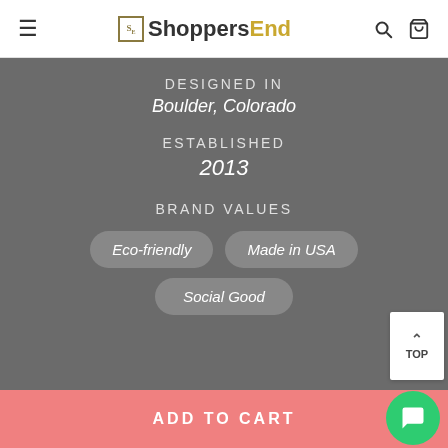ShoppersEnd
DESIGNED IN
Boulder, Colorado
ESTABLISHED
2013
BRAND VALUES
Eco-friendly
Made in USA
Social Good
TOP
ADD TO CART